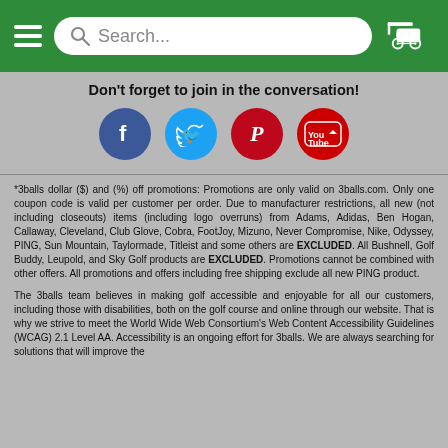Search...
Don't forget to join in the conversation!
[Figure (illustration): Four social media icons in circles: Facebook (blue), Twitter (cyan), Pinterest (red), YouTube (red)]
*3balls dollar ($) and (%) off promotions: Promotions are only valid on 3balls.com. Only one coupon code is valid per customer per order. Due to manufacturer restrictions, all new (not including closeouts) items (including logo overruns) from Adams, Adidas, Ben Hogan, Callaway, Cleveland, Club Glove, Cobra, FootJoy, Mizuno, Never Compromise, Nike, Odyssey, PING, Sun Mountain, Taylormade, Titleist and some others are EXCLUDED. All Bushnell, Golf Buddy, Leupold, and Sky Golf products are EXCLUDED. Promotions cannot be combined with other offers. All promotions and offers including free shipping exclude all new PING product.
The 3balls team believes in making golf accessible and enjoyable for all our customers, including those with disabilities, both on the golf course and online through our website. That is why we strive to meet the World Wide Web Consortium's Web Content Accessibility Guidelines (WCAG) 2.1 Level AA. Accessibility is an ongoing effort for 3balls. We are always searching for solutions that will improve the